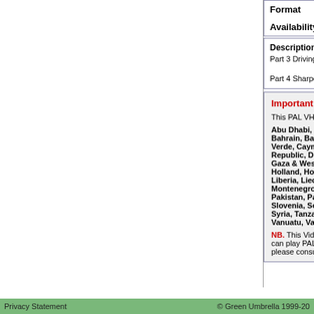| Format | PAL VHS | Availability | Usually des... |
| --- | --- | --- | --- |
| Format | PAL VHS |
| Availability | Usually des... |
Description
Part 3 Driving for distance the easy, sure-fire way to k...
Part 4 Sharpen your short game Hit more greens this...
Important Information on video compati...
This PAL VHS Video is designed to function in the fo...
Abu Dhabi, Afghanistan, Albania, Algeria, Angola, Bahrain, Bangladesh, Belgium, Bosnia Herzeovi... Verde, Cayman Islands, China (Peoples Republic)... Republic, Denmark, Dubai, Easter Island, Eritrea, E... Gaza & West Bank, Germany, Ghana, Gibraltar, G... Holland, Hong Kong, Iceland, India, Indonesia, Irela... Liberia, Liechtenstein, Luxembourg, Macao, Ma... Montenegro, Mozambique, Namibia, Nepal, Netherla... Pakistan, Papua New Guinea, Paraguay, Poland, Por... Slovenia, Solomon Islands, Somalia, South Africa, ... Syria, Tanzania, Thailand, Tonga, Tristian Da Cunah,... Vanuatu, Vatican, Yemen, Yugoslavia, Zambia, Zanzi...
NB. This Video will NOT work in NTSC TV regions... can play PAL VHS videos (ie it is multi-format) AND... please consult your electrical retailer before making...
Privacy Statement   © Green Umbrella 1999-20...